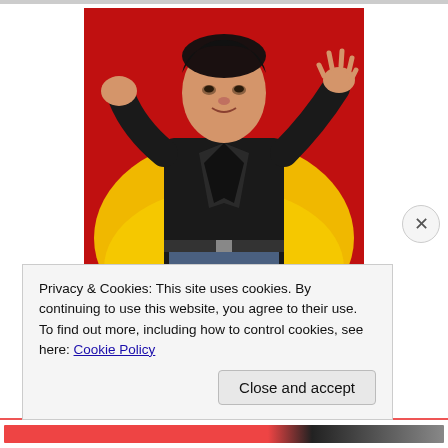[Figure (illustration): Illustration/poster of Elvis Presley in a black leather jacket with red and yellow background, posed dynamically with one fist raised and one hand open]
Da'King Lives!
This January, in Honor of Elvis Presley's 75th Birthday, 3B Theater, Micro-Brewed Reviews & Scenes from the Morgue will Unleash a Month Long Tribute to the King of
Privacy & Cookies: This site uses cookies. By continuing to use this website, you agree to their use.
To find out more, including how to control cookies, see here: Cookie Policy